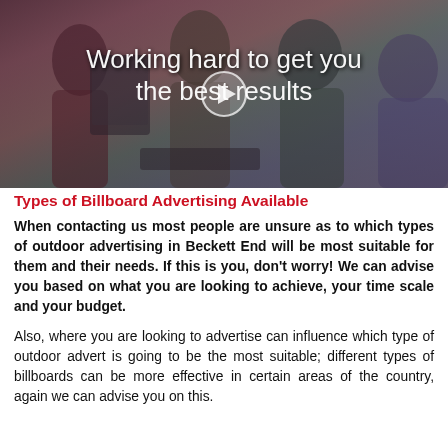[Figure (photo): Video thumbnail showing people working at computers in an office setting, with overlaid white text reading 'Working hard to get you the best results' and a play button icon in the center.]
Types of Billboard Advertising Available
When contacting us most people are unsure as to which types of outdoor advertising in Beckett End will be most suitable for them and their needs. If this is you, don't worry! We can advise you based on what you are looking to achieve, your time scale and your budget.
Also, where you are looking to advertise can influence which type of outdoor advert is going to be the most suitable; different types of billboards can be more effective in certain areas of the country, again we can advise you on this.